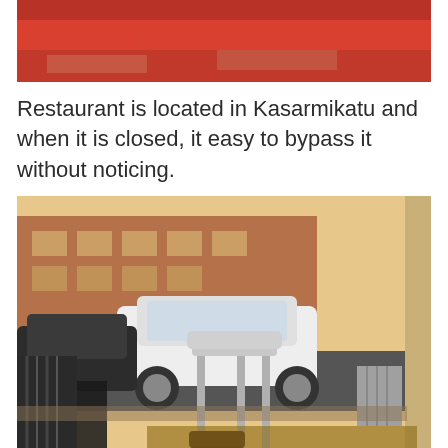[Figure (photo): Top portion of a photo showing a red object on a light-colored surface, cropped at the top of the page.]
Restaurant is located in Kasarmikatu and when it is closed, it easy to bypass it without noticing.
[Figure (photo): Interior view of a restaurant looking out through a window at a street with parked cars including a white VW Golf. Inside, a wooden chair is visible along with a coffee cup. Brick buildings are visible across the street.]